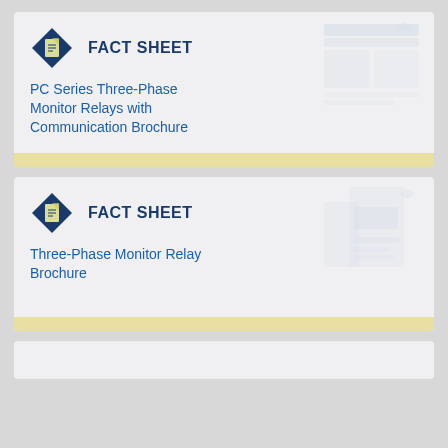[Figure (infographic): Fact Sheet card 1: Diamond icon with document symbol, FACT SHEET label, title: PC Series Three-Phase Monitor Relays with Communication Brochure, with faded thumbnail of document on right]
PC Series Three-Phase Monitor Relays with Communication Brochure
[Figure (infographic): Fact Sheet card 2: Diamond icon with document symbol, FACT SHEET label, title: Three-Phase Monitor Relay Brochure, with faded thumbnail of brochure cover on right]
Three-Phase Monitor Relay Brochure